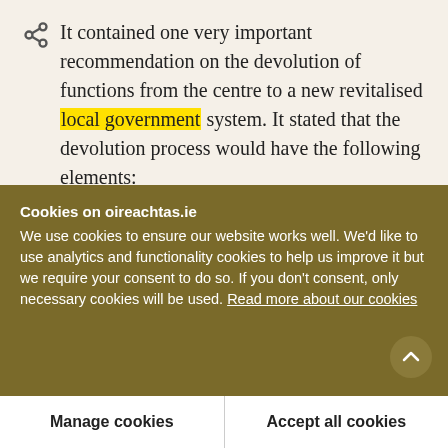It contained one very important recommendation on the devolution of functions from the centre to a new revitalised local government system. It stated that the devolution process would have the following elements:
Matters which would be devolved from the centre and administered directly by local government would include: individual housing grants, group water schemes and driving testing; foreshore
Cookies on oireachtas.ie
We use cookies to ensure our website works well. We'd like to use analytics and functionality cookies to help us improve it but we require your consent to do so. If you don't consent, only necessary cookies will be used. Read more about our cookies
Manage cookies
Accept all cookies